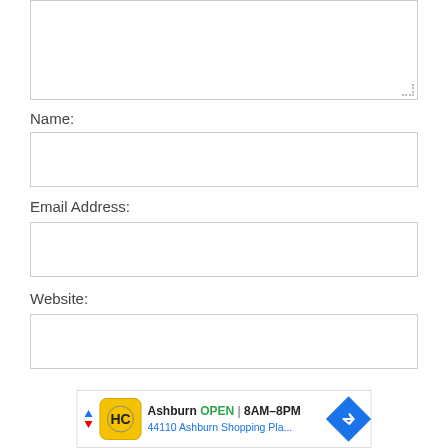[Figure (screenshot): Empty textarea form field with resize handle at bottom right corner]
Name:
[Figure (screenshot): Empty text input field for Name]
Email Address:
[Figure (screenshot): Empty text input field for Email Address]
Website:
[Figure (screenshot): Empty text input field for Website]
[Figure (screenshot): Advertisement banner: Ashburn OPEN 8AM-8PM, 44110 Ashburn Shopping Pla...]